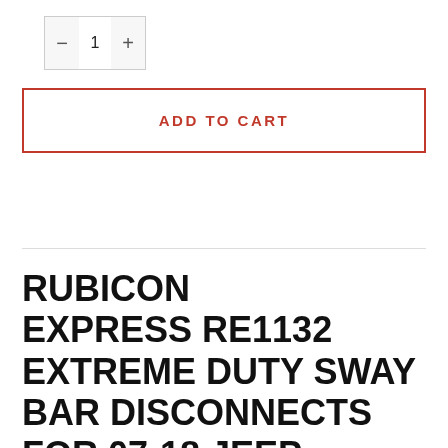[Figure (other): Quantity selector box with minus button, the number 1, and plus button]
ADD TO CART
RUBICON EXPRESS RE1132 EXTREME DUTY SWAY BAR DISCONNECTS FOR 07-18 JEEP WRANGLER JK WITH 2.5-6" LIFT